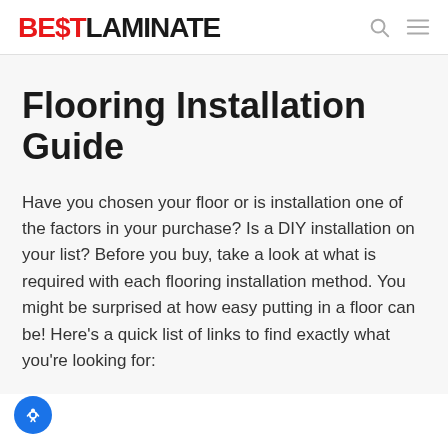BEST LAMINATE
Flooring Installation Guide
Have you chosen your floor or is installation one of the factors in your purchase? Is a DIY installation on your list? Before you buy, take a look at what is required with each flooring installation method. You might be surprised at how easy putting in a floor can be! Here’s a quick list of links to find exactly what you’re looking for: